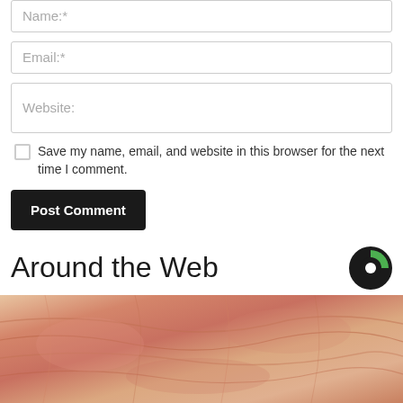Name:*
Email:*
Website:
Save my name, email, and website in this browser for the next time I comment.
Post Comment
Around the Web
[Figure (photo): Close-up photo of skin/tissue texture with pink and peach tones]